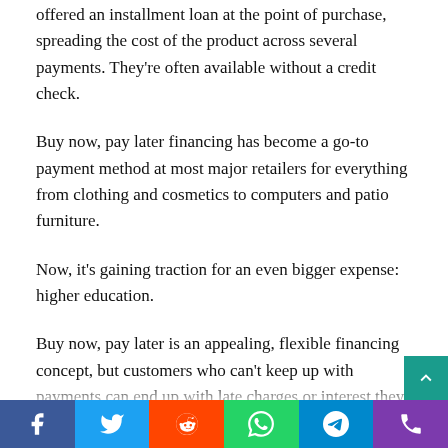offered an installment loan at the point of purchase, spreading the cost of the product across several payments. They're often available without a credit check.
Buy now, pay later financing has become a go-to payment method at most major retailers for everything from clothing and cosmetics to computers and patio furniture.
Now, it's gaining traction for an even bigger expense: higher education.
Buy now, pay later is an appealing, flexible financing concept, but customers who can't keep up with payments can end up with late charges or interest they can't afford.
Just as buy now, pay later can be a debt trap for the wrong shopper, education and consumer advocates fear that